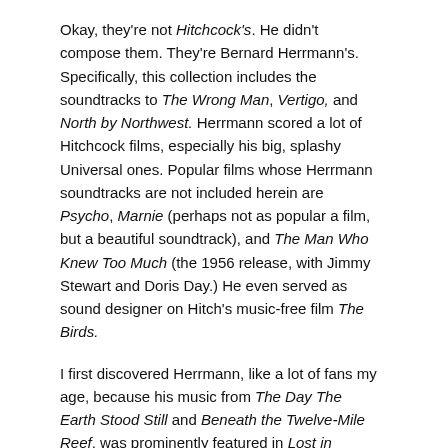Okay, they're not Hitchcock's. He didn't compose them. They're Bernard Herrmann's. Specifically, this collection includes the soundtracks to The Wrong Man, Vertigo, and North by Northwest. Herrmann scored a lot of Hitchcock films, especially his big, splashy Universal ones. Popular films whose Herrmann soundtracks are not included herein are Psycho, Marnie (perhaps not as popular a film, but a beautiful soundtrack), and The Man Who Knew Too Much (the 1956 release, with Jimmy Stewart and Doris Day.) He even served as sound designer on Hitch's music-free film The Birds.
I first discovered Herrmann, like a lot of fans my age, because his music from The Day The Earth Stood Still and Beneath the Twelve-Mile Reef, was prominently featured in Lost in Space. Herrmann did a lot of TV, a lot of it original, particularly for The Twilight Zone. I guess my next encounter with him was his moody score for The Ghost and Mrs. Muir, with Rex Harrison and Gene Tierney. That was one of the first CDs I ever bought, when CDs became popular. (The cassette era, in which I came